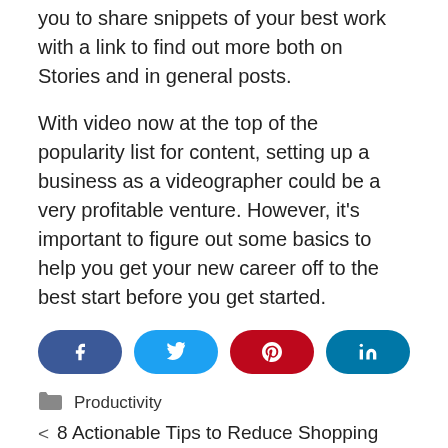you to share snippets of your best work with a link to find out more both on Stories and in general posts.
With video now at the top of the popularity list for content, setting up a business as a videographer could be a very profitable venture. However, it's important to figure out some basics to help you get your new career off to the best start before you get started.
[Figure (infographic): Four social share buttons: Facebook (dark blue), Twitter (light blue), Pinterest (red), LinkedIn (dark teal)]
Productivity
< 8 Actionable Tips to Reduce Shopping Cart Abandonment on Your Amazon Store